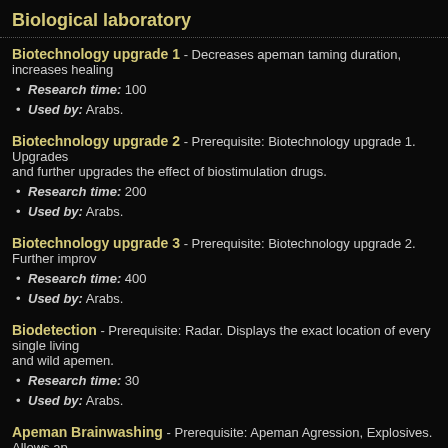Biological laboratory
Biotechnology upgrade 1
Biotechnology upgrade 1 - Decreases apeman taming duration, increases healing
Research time: 100
Used by: Arabs.
Biotechnology upgrade 2
Biotechnology upgrade 2 - Prerequisite: Biotechnology upgrade 1. Upgrades and further upgrades the effect of biostimulation drugs.
Research time: 200
Used by: Arabs.
Biotechnology upgrade 3
Biotechnology upgrade 3 - Prerequisite: Biotechnology upgrade 2. Further improv
Research time: 400
Used by: Arabs.
Biodetection
Biodetection - Prerequisite: Radar. Displays the exact location of every single living and wild apemen.
Research time: 30
Used by: Arabs.
Apeman Brainwashing
Apeman Brainwashing - Prerequisite: Apeman Agression, Explosives. Allows ap in this role are strapped with large amounts of explosives and sent at enemy lines, with t
Research time: 50
Used by: Arabs.
Stimulation drugs
Stimulation drugs - Under the influence of these drugs infantry will never becom